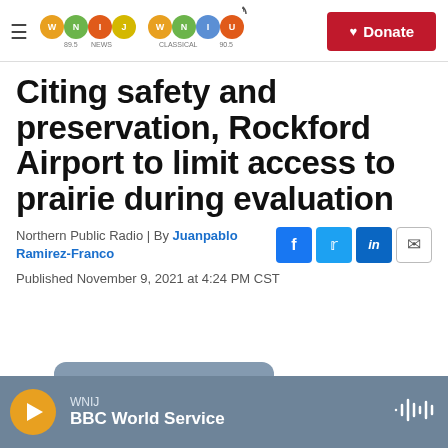WNIJ NEWS 89.5 | WNIU CLASSICAL 90.5 | Donate
Citing safety and preservation, Rockford Airport to limit access to prairie during evaluation
Northern Public Radio | By Juanpablo Ramirez-Franco
Published November 9, 2021 at 4:24 PM CST
WNIJ BBC World Service